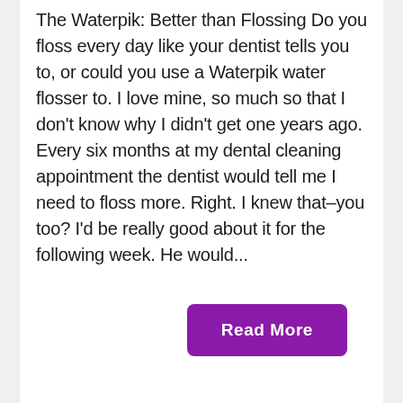The Waterpik: Better than Flossing Do you floss every day like your dentist tells you to, or could you use a Waterpik water flosser to. I love mine, so much so that I don't know why I didn't get one years ago. Every six months at my dental cleaning appointment the dentist would tell me I need to floss more. Right. I knew that–you too? I'd be really good about it for the following week. He would...
Read More